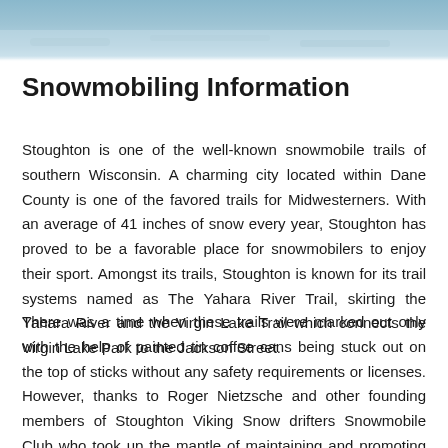[Figure (photo): A partial view of a winter/snow scene photograph at the top of the page, showing a blue-grey icy or snowy landscape.]
Snowmobiling Information
Stoughton is one of the well-known snowmobile trails of southern Wisconsin. A charming city located within Dane County is one of the favored trails for Midwesterners. With an average of 41 inches of snow every year, Stoughton has proved to be a favorable place for snowmobilers to enjoy their sport. Amongst its trails, Stoughton is known for its trail systems named as The Yahara River Trail, skirting the Yahara River and the Virgin Lake Trail which connects the Virgin Lake Park to the Jackson Street.
There was a time when these trails were marked out only with the help of painted tin coffee cans being stuck out on the top of sticks without any safety requirements or licenses. However, thanks to Roger Nietzsche and other founding members of Stoughton Viking Snow drifters Snowmobile Club who took up the mantle of maintaining and promoting the trails.